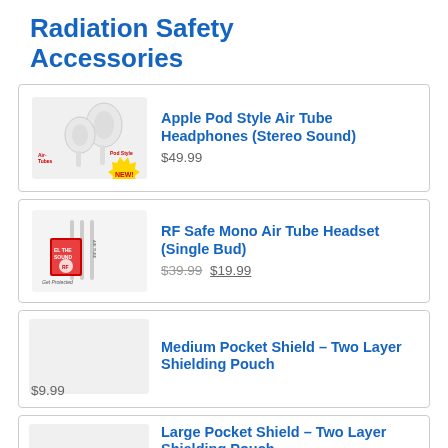Radiation Safety Accessories
[Figure (photo): Apple Pod Style Air Tube Headphones product photo with 'Air-Tubes' and 'Pod Style' labels and a NEW! starburst badge]
Apple Pod Style Air Tube Headphones (Stereo Sound)
$49.99
[Figure (photo): RF Safe Mono Air Tube Headset product photo showing earbuds with red and silver design, 'Get Protected' text]
RF Safe Mono Air Tube Headset (Single Bud)
$39.99 $19.99
Medium Pocket Shield – Two Layer Shielding Pouch
$9.99
Large Pocket Shield – Two Layer Shielding Pouch
$14.99